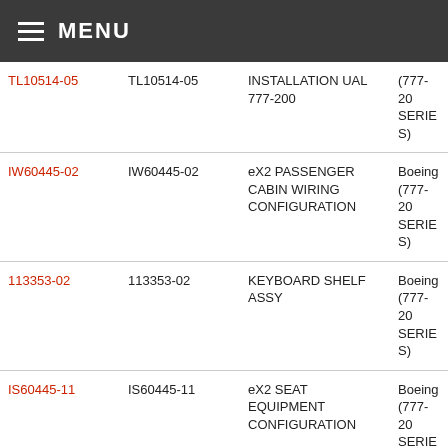≡ MENU
|  |  |  |  |
| --- | --- | --- | --- |
| TL10514-05 | TL10514-05 | INSTALLATION UAL 777-200 | (777-200 SERIES) |
| IW60445-02 | IW60445-02 | eX2 PASSENGER CABIN WIRING CONFIGURATION | Boeing (777-200 SERIES) |
| 113353-02 | 113353-02 | KEYBOARD SHELF ASSY | Boeing (777-200 SERIES) |
| IS60445-11 | IS60445-11 | eX2 SEAT EQUIPMENT CONFIGURATION | Boeing (777-200 SERIES) |
| IS70024-02 | IS70024-02 | eX2 SYSTEM STRUCTURAL | (777-200 |